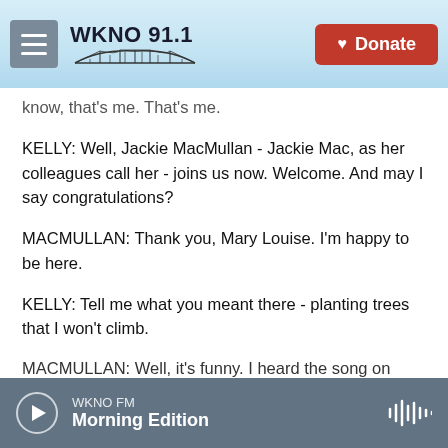[Figure (screenshot): WKNO 91.1 radio station website header with hamburger menu, WKNO 91.1 logo with bridge graphic, and red Donate button]
know, that's me. That's me.
KELLY: Well, Jackie MacMullan - Jackie Mac, as her colleagues call her - joins us now. Welcome. And may I say congratulations?
MACMULLAN: Thank you, Mary Louise. I'm happy to be here.
KELLY: Tell me what you meant there - planting trees that I won't climb.
MACMULLAN: Well, it's funny. I heard the song on
WKNO FM  Morning Edition